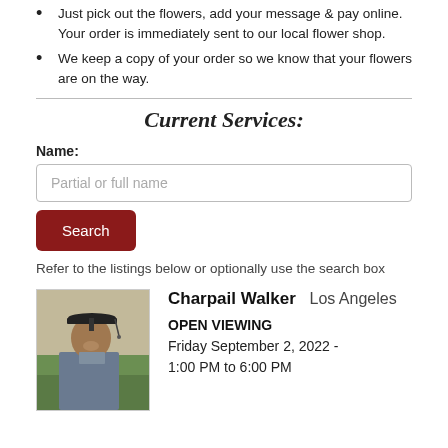Just pick out the flowers, add your message & pay online. Your order is immediately sent to our local flower shop.
We keep a copy of your order so we know that your flowers are on the way.
Current Services:
Name:
Partial or full name
Search
Refer to the listings below or optionally use the search box
[Figure (photo): Portrait photo of a young man in graduation cap and gown, smiling, outdoors with green hedge background.]
Charpail Walker   Los Angeles
OPEN VIEWING
Friday September 2, 2022 - 1:00 PM to 6:00 PM